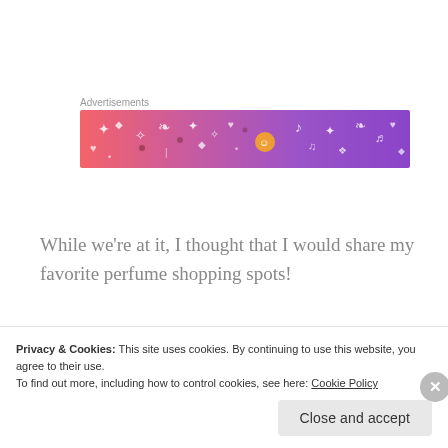Advertisements
[Figure (illustration): Colorful advertisement banner with pink-to-purple gradient background and decorative music/doodle icons (diamonds, hearts, music notes, leaves, characters)]
While we're at it, I thought that I would share my favorite perfume shopping spots!
1. Bergdorf Goodman. Bergdorf Goodman is my
Privacy & Cookies: This site uses cookies. By continuing to use this website, you agree to their use.
To find out more, including how to control cookies, see here: Cookie Policy
Close and accept